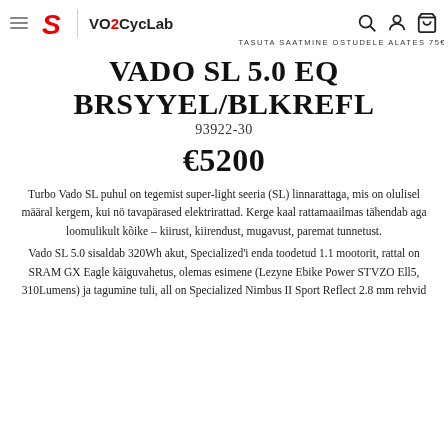VO2CycLab — TASUTA SAATMINE OSTUDELE ALATES 75€
VADO SL 5.0 EQ BRSYYEL/BLKREFL
93922-30
€5200
Turbo Vado SL puhul on tegemist super-light seeria (SL) linnarattaga, mis on olulisel määral kergem, kui nö tavapärased elektrirattad. Kerge kaal rattamaailmas tähendab aga loomulikult kõike – kiirust, kiirendust, mugavust, paremat tunnetust.
Vado SL 5.0 sisaldab 320Wh akut, Specialized'i enda toodetud 1.1 mootorit, rattal on SRAM GX Eagle käiguvahetus, olemas esimene (Lezyne Ebike Power STVZO Ell5, 310Lumens) ja tagumine tuli, all on Specialized Nimbus II Sport Reflect 2.8 mm rehvid